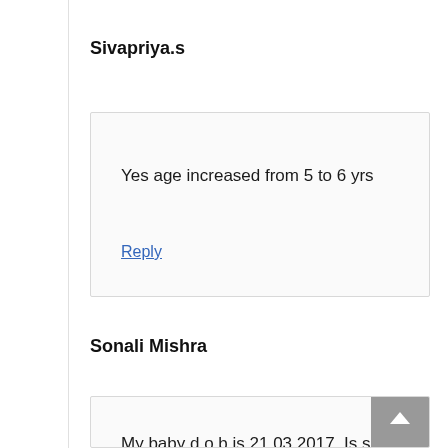Sivapriya.s
Yes age increased from 5 to 6 yrs
Reply
Sonali Mishra
My baby d.o.b is 21.03 2017 .Is she eligible for std 1 admission?